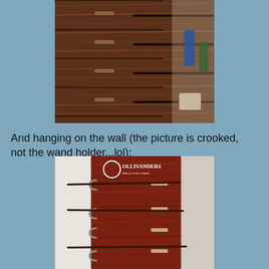[Figure (photo): Photo of a wooden wand holder with multiple horizontal slots/drawers and metal wand holders, shown on a kitchen counter or shelf]
And hanging on the wall (the picture is crooked, not the wand holder...lol):
[Figure (photo): Photo of an Ollivanders wand display board hung on a wall, showing a dark wood panel with the Ollivanders logo and multiple wands in horizontal holders]